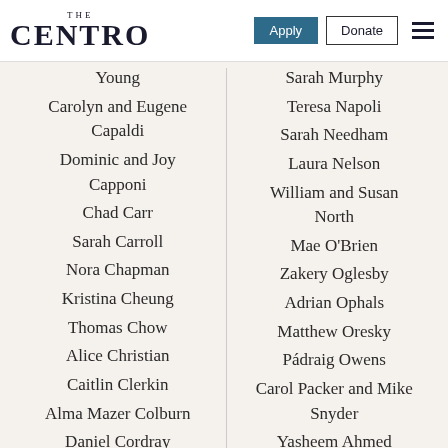[Figure (logo): The Centro logo - serif text with 'THE' small above 'CENTRO' large]
Young
Carolyn and Eugene Capaldi
Dominic and Joy Capponi
Chad Carr
Sarah Carroll
Nora Chapman
Kristina Cheung
Thomas Chow
Alice Christian
Caitlin Clerkin
Alma Mazer Colburn
Daniel Cordray
Robert Cordell
Sarah Murphy
Teresa Napoli
Sarah Needham
Laura Nelson
William and Susan North
Mae O'Brien
Zakery Oglesby
Adrian Ophals
Matthew Oresky
Pádraig Owens
Carol Packer and Mike Snyder
Yasheem Ahmed
Pattie and Danielle